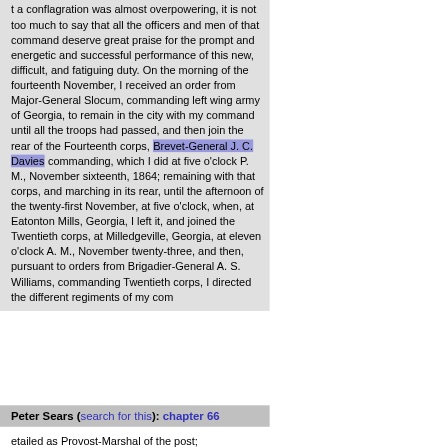t a conflagration was almost overpowering, it is not too much to say that all the officers and men of that command deserve great praise for the prompt and energetic and successful performance of this new, difficult, and fatiguing duty. On the morning of the fourteenth November, I received an order from Major-General Slocum, commanding left wing army of Georgia, to remain in the city with my command until all the troops had passed, and then join the rear of the Fourteenth corps, Brevet-General J. C. Davies commanding, which I did at five o'clock P. M., November sixteenth, 1864; remaining with that corps, and marching in its rear, until the afternoon of the twenty-first November, at five o'clock, when, at Eatonton Mills, Georgia, I left it, and joined the Twentieth corps, at Milledgeville, Georgia, at eleven o'clock A. M., November twenty-three, and then, pursuant to orders from Brigadier-General A. S. Williams, commanding Twentieth corps, I directed the different regiments of my com
Peter Sears (search for this): chapter 66
etailed as Provost-Marshal of the post;